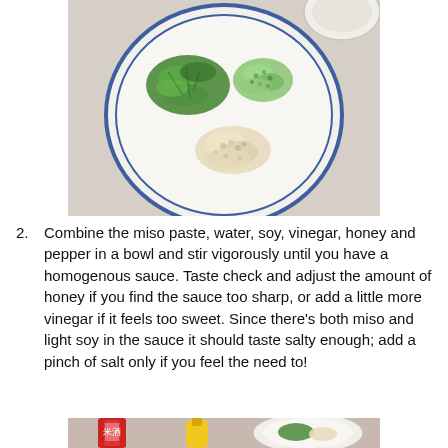[Figure (photo): Overhead view of a white plate with blue rim containing three piles of ingredients: chopped green herbs (top left), minced green onions (top right), and minced garlic or ginger (bottom center). Partial view of a small white bowl in upper right corner.]
2. Combine the miso paste, water, soy, vinegar, honey and pepper in a bowl and stir vigorously until you have a homogenous sauce. Taste check and adjust the amount of honey if you find the sauce too sharp, or add a little more vinegar if it feels too sweet. Since there's both miso and light soy in the sauce it should taste salty enough; add a pinch of salt only if you feel the need to!
[Figure (photo): Photo showing a red bottle with Chinese characters (rice wine/米酒), a yellow squeeze bottle, and a white plate with chopped green herbs and minced ingredients.]